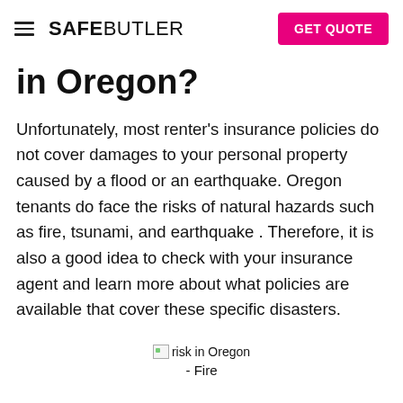SAFEBUTLER  GET QUOTE
in Oregon?
Unfortunately, most renter's insurance policies do not cover damages to your personal property caused by a flood or an earthquake. Oregon tenants do face the risks of natural hazards such as fire, tsunami, and earthquake . Therefore, it is also a good idea to check with your insurance agent and learn more about what policies are available that cover these specific disasters.
[Figure (photo): Broken image placeholder labeled 'risk in Oregon']
- Fire